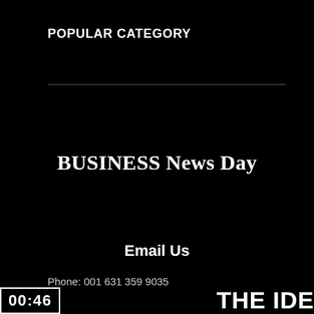POPULAR CATEGORY
BUSINESS News Day
Email Us
Phone: 001 631 359 9035
00:46
THE IDE